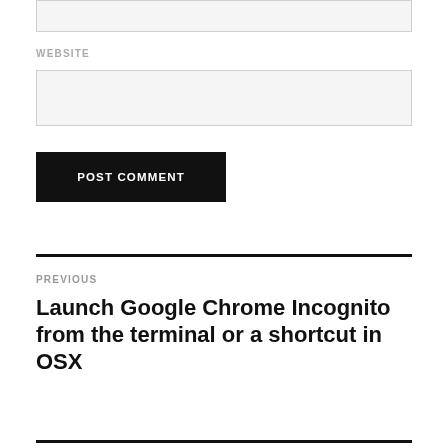[input field top]
WEBSITE
[website input field]
POST COMMENT
PREVIOUS
Launch Google Chrome Incognito from the terminal or a shortcut in OSX